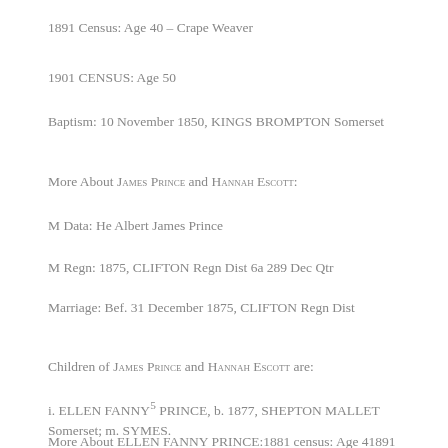1891 Census: Age 40 – Crape Weaver
1901 CENSUS: Age 50
Baptism: 10 November 1850, KINGS BROMPTON Somerset
More About James Prince and Hannah Escott:
M Data: He Albert James Prince
M Regn: 1875, CLIFTON Regn Dist 6a 289 Dec Qtr
Marriage: Bef. 31 December 1875, CLIFTON Regn Dist
Children of James Prince and Hannah Escott are:
i. ELLEN FANNY5 PRINCE, b. 1877, SHEPTON MALLET Somerset; m. SYMES.
More About ELLEN FANNY PRINCE:1881 census: Age 41891